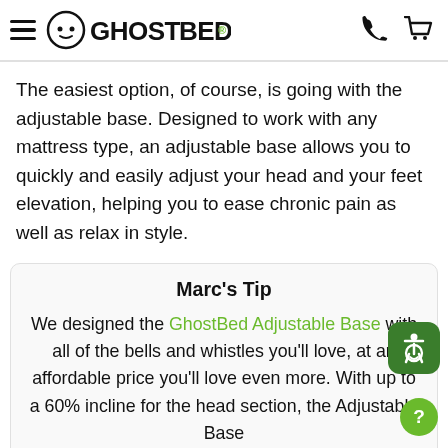GHOSTBED.
The easiest option, of course, is going with the adjustable base. Designed to work with any mattress type, an adjustable base allows you to quickly and easily adjust your head and your feet elevation, helping you to ease chronic pain as well as relax in style.
Marc's Tip
We designed the GhostBed Adjustable Base with all of the bells and whistles you'll love, at an affordable price you'll love even more. With up to a 60% incline for the head section, the Adjustable Base